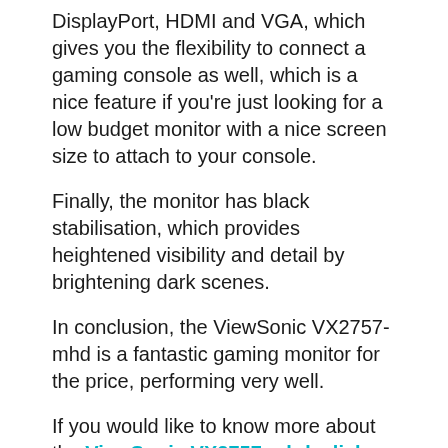DisplayPort, HDMI and VGA, which gives you the flexibility to connect a gaming console as well, which is a nice feature if you're just looking for a low budget monitor with a nice screen size to attach to your console.
Finally, the monitor has black stabilisation, which provides heightened visibility and detail by brightening dark scenes.
In conclusion, the ViewSonic VX2757-mhd is a fantastic gaming monitor for the price, performing very well.
If you would like to know more about the ViewSonic VX2757-mhd, click here.
RELATED STORIES
Hands-on review: ECOVACS DEEBOT X1